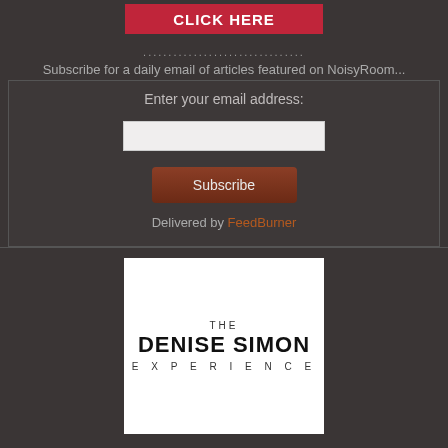[Figure (other): Red button with white bold text reading CLICK HERE]
................................
Subscribe for a daily email of articles featured on NoisyRoom...
Enter your email address:
[Figure (other): Email input text field]
[Figure (other): Subscribe button (dark reddish-brown)]
Delivered by FeedBurner
[Figure (logo): The Denise Simon Experience logo on white background]